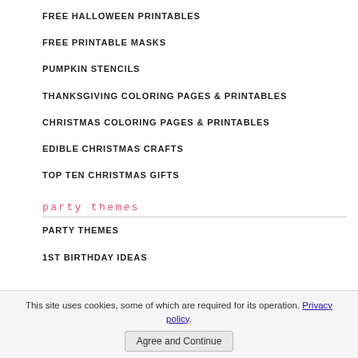FREE HALLOWEEN PRINTABLES
FREE PRINTABLE MASKS
PUMPKIN STENCILS
THANKSGIVING COLORING PAGES & PRINTABLES
CHRISTMAS COLORING PAGES & PRINTABLES
EDIBLE CHRISTMAS CRAFTS
TOP TEN CHRISTMAS GIFTS
party themes
PARTY THEMES
1ST BIRTHDAY IDEAS
This site uses cookies, some of which are required for its operation. Privacy policy.